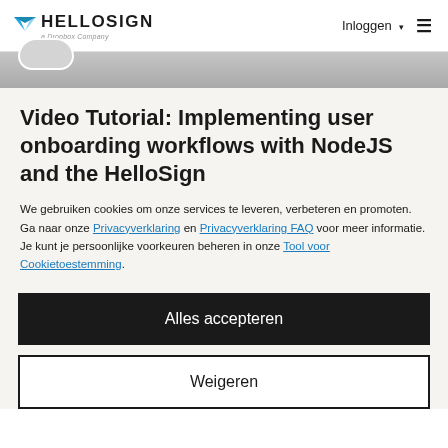HelloSign – a Dropbox Company | Inloggen
Video Tutorial: Implementing user onboarding workflows with NodeJS and the HelloSign
We gebruiken cookies om onze services te leveren, verbeteren en promoten. Ga naar onze Privacyverklaring en Privacyverklaring FAQ voor meer informatie. Je kunt je persoonlijke voorkeuren beheren in onze Tool voor Cookietoestemming.
Alles accepteren
Weigeren